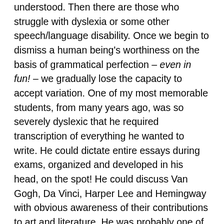understood. Then there are those who struggle with dyslexia or some other speech/language disability. Once we begin to dismiss a human being's worthiness on the basis of grammatical perfection – even in fun! – we gradually lose the capacity to accept variation. One of my most memorable students, from many years ago, was so severely dyslexic that he required transcription of everything he wanted to write. He could dictate entire essays during exams, organized and developed in his head, on the spot! He could discuss Van Gogh, Da Vinci, Harper Lee and Hemingway with obvious awareness of their contributions to art and literature. He was probably one of the brightest young men I've ever taught.
	I believe he's a landscape architect now. I've lost track of him but that was his goal and I see no reason why he wouldn't have achieved it. Universities and colleges have come to the realization that certain students may require